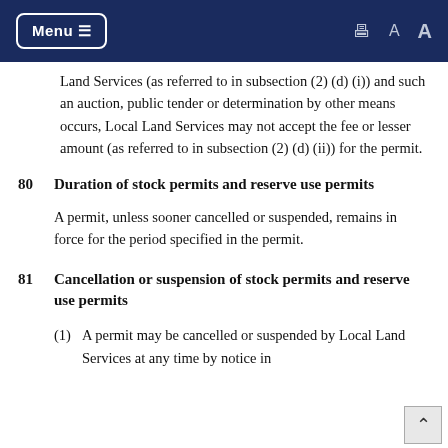Menu (navigation bar with print and font-size icons)
Land Services (as referred to in subsection (2) (d) (i)) and such an auction, public tender or determination by other means occurs, Local Land Services may not accept the fee or lesser amount (as referred to in subsection (2) (d) (ii)) for the permit.
80   Duration of stock permits and reserve use permits
A permit, unless sooner cancelled or suspended, remains in force for the period specified in the permit.
81   Cancellation or suspension of stock permits and reserve use permits
(1)  A permit may be cancelled or suspended by Local Land Services at any time by notice in